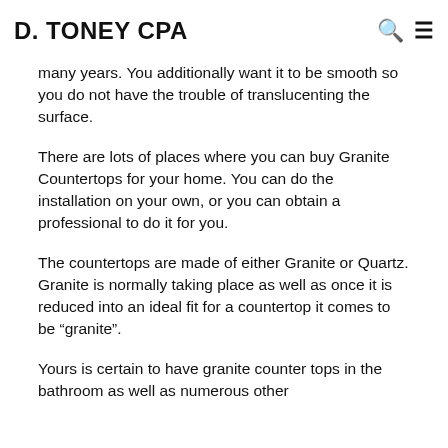D. TONEY CPA
many years. You additionally want it to be smooth so you do not have the trouble of translucenting the surface.
There are lots of places where you can buy Granite Countertops for your home. You can do the installation on your own, or you can obtain a professional to do it for you.
The countertops are made of either Granite or Quartz. Granite is normally taking place as well as once it is reduced into an ideal fit for a countertop it comes to be "granite".
Yours is certain to have granite counter tops in the bathroom as well as numerous other